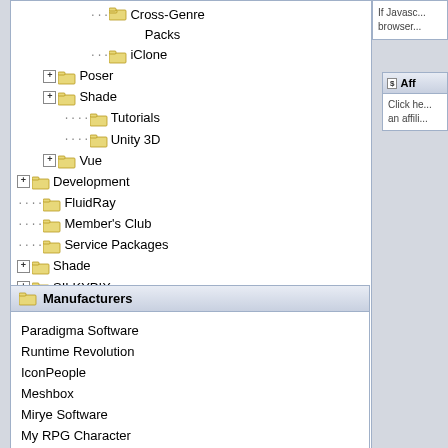Cross-Genre Packs
iClone
Poser
Shade
Tutorials
Unity 3D
Vue
Development
FluidRay
Member's Club
Service Packages
Shade
SILKYPIX
Special Vendor Categories
Manufacturers
Paradigma Software
Runtime Revolution
IconPeople
Meshbox
Mirye Software
My RPG Character
E Frontier
Fluid Interactive
Ichikawa Soft Labs
If Javasc... browser...
Aff...
Click he... an affili...